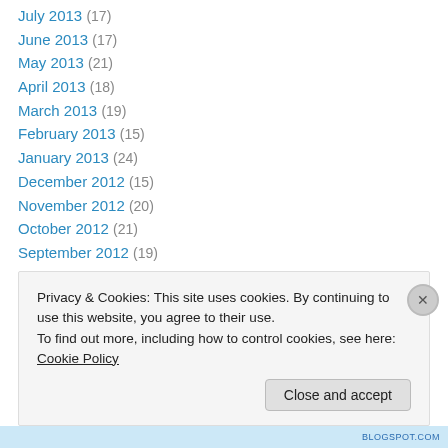July 2013 (17)
June 2013 (17)
May 2013 (21)
April 2013 (18)
March 2013 (19)
February 2013 (15)
January 2013 (24)
December 2012 (15)
November 2012 (20)
October 2012 (21)
September 2012 (19)
August 2012 (18)
July 2012 (18)
Privacy & Cookies: This site uses cookies. By continuing to use this website, you agree to their use. To find out more, including how to control cookies, see here: Cookie Policy